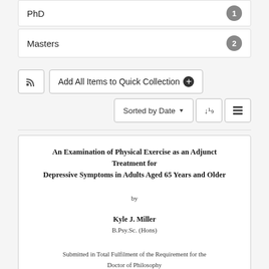PhD — 1
Masters — 2
Add All Items to Quick Collection
Sorted by Date
[Figure (screenshot): Document card showing thesis title page: An Examination of Physical Exercise as an Adjunct Treatment for Depressive Symptoms in Adults Aged 65 Years and Older, by Kyle J. Miller, B.Psy.Sc. (Hons), Submitted in Total Fulfilment of the Requirement for the Doctor of Philosophy]